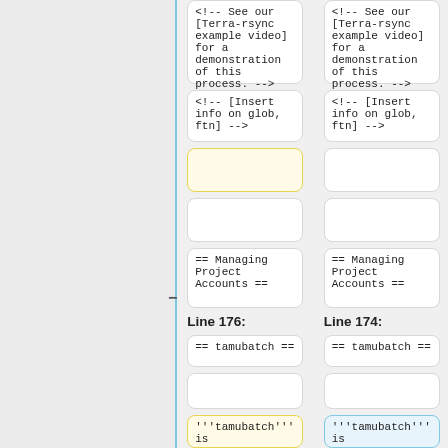<!-- See our [Terra-rsync example video] for a demonstration of this process. -->
<!-- See our [Terra-rsync example video] for a demonstration of this process. -->
<!-- [Insert info on glob, ftn] -->
<!-- [Insert info on glob, ftn] -->
(empty box - yellow highlighted)
(empty box)
(empty box)
== Managing Project Accounts ==
== Managing Project Accounts ==
Line 176:
Line 174:
== tamubatch ==
== tamubatch ==
(empty box)
(empty box)
'''tamubatch''' is
'''tamubatch''' is